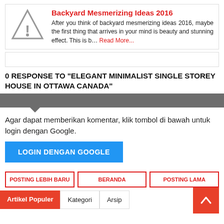[Figure (illustration): Warning triangle icon with exclamation mark, gray outline]
Backyard Mesmerizing Ideas 2016
After you think of backyard mesmerizing ideas 2016, maybe the first thing that arrives in your mind is beauty and stunning effect. This is b… Read More...
0 RESPONSE TO "ELEGANT MINIMALIST SINGLE STOREY HOUSE IN OTTAWA CANADA"
Agar dapat memberikan komentar, klik tombol di bawah untuk login dengan Google.
LOGIN DENGAN GOOGLE
POSTING LEBIH BARU
BERANDA
POSTING LAMA
Artikel Populer
Kategori
Arsip